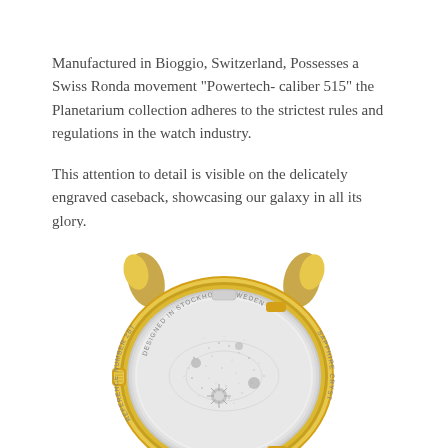Manufactured in Bioggio, Switzerland, Possesses a Swiss Ronda movement "Powertech- caliber 515" the Planetarium collection adheres to the strictest rules and regulations in the watch industry.

This attention to detail is visible on the delicately engraved caseback, showcasing our galaxy in all its glory.
[Figure (photo): Gold-toned watch caseback viewed from the rear, showing an engraved galaxy / solar system design. The caseback text reads 'DESIGNED IN STOCKHOLM, SWEDEN', 'SAPPHIRE CRYST...' and 'REFERENCE NUMBER 2BT090'. The case has gold lugs and a silver-toned caseback with decorative celestial engravings.]